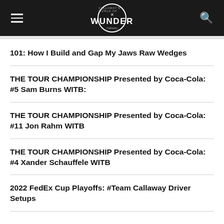WUNDER
101: How I Build and Gap My Jaws Raw Wedges
THE TOUR CHAMPIONSHIP Presented by Coca-Cola: #5 Sam Burns WITB:
THE TOUR CHAMPIONSHIP Presented by Coca-Cola: #11 Jon Rahm WITB
THE TOUR CHAMPIONSHIP Presented by Coca-Cola: #4 Xander Schauffele WITB
2022 FedEx Cup Playoffs: #Team Callaway Driver Setups